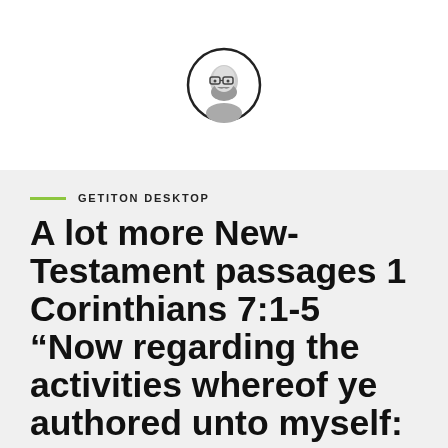[Figure (illustration): Circular avatar icon of a bearded man with glasses, black outline circle border on white background]
GETITON DESKTOP
A lot more New-Testament passages 1 Corinthians 7:1-5 “Now regarding the activities whereof ye authored unto myself: